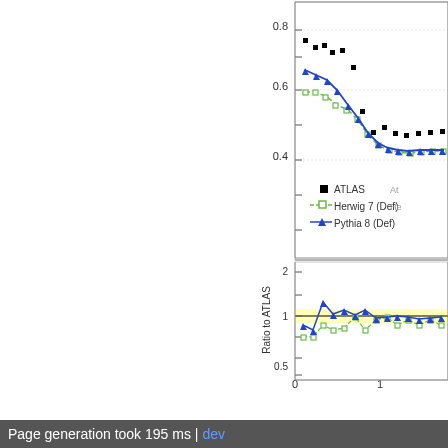[Figure (continuous-plot): Partial view of a two-panel physics plot (right half visible). Top panel shows data points (ATLAS, black squares), Herwig 7 Def (green dashed line with open squares), and Pythia 8 Def (blue solid line with triangles) vs x-axis from ~0 to 1.2. Y-axis shows values from ~0.4 to 0.8. Bottom panel shows Ratio to ATLAS with y-axis 0.5 to 2, x-axis 0 to 1. Yellow band around ratio=1.]
Page generation took 195 ms | dev